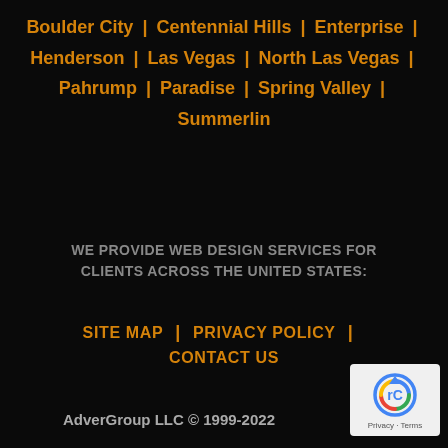Boulder City | Centennial Hills | Enterprise | Henderson | Las Vegas | North Las Vegas | Pahrump | Paradise | Spring Valley | Summerlin
WE PROVIDE WEB DESIGN SERVICES FOR CLIENTS ACROSS THE UNITED STATES:
SITE MAP | PRIVACY POLICY | CONTACT US
AdverGroup LLC © 1999-2022